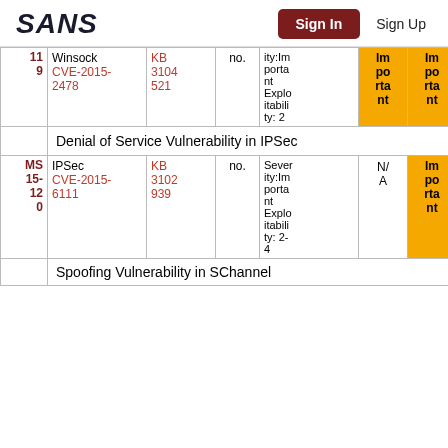SANS | Sign In | Sign Up
| MS ID | Component/CVE | KB | Restart | Severity/Exploitability | Win8 | Win10 |
| --- | --- | --- | --- | --- | --- | --- |
| MS 11 9 | Winsock CVE-2015-2478 | KB 3104 521 | no. | ity:Im porta nt Explo itabili ty: 2 | Im po rta nt | Im po rta nt |
|  | Denial of Service Vulnerability in IPSec |  |  |  |  |  |
| MS 15- 12 0 | IPSec CVE-2015-6111 | KB 3102 939 | no. | Sever ity:Im porta nt Explo itabili ty: 2-4 | N/A | Im po rta nt |
|  | Spoofing Vulnerability in SChannel |  |  |  |  |  |